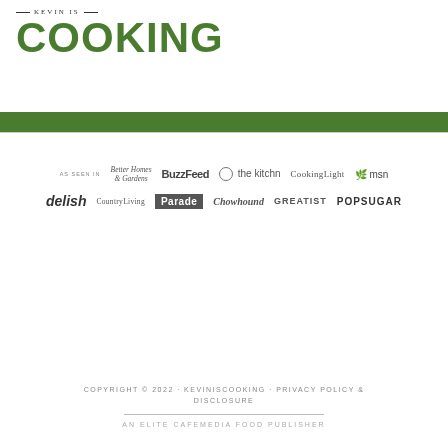KEVIN IS COOKING
[Figure (logo): Kevin Is Cooking logo with green bar navigation]
[Figure (infographic): As seen in media logos: Better Homes & Gardens, BuzzFeed, the kitchn, CookingLight, msn, delish, CountryLiving, Parade, Chowhound, GREATIST, POPSUGAR]
COPYRIGHT © 2022 · KEVINISCOOKING · PRIVACY POLICY & DISCLOSURE
AN ELITE CAFEMEDIA FOOD PUBLISHER